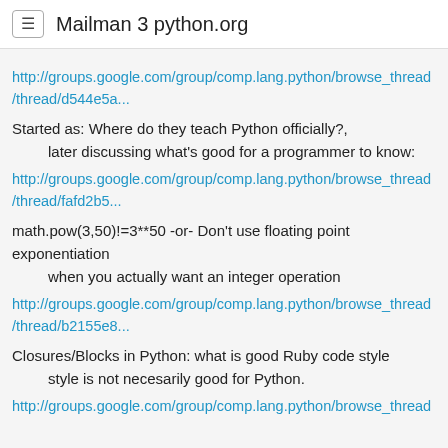≡ Mailman 3 python.org
http://groups.google.com/group/comp.lang.python/browse_thread/thread/d544e5a...
Started as: Where do they teach Python officially?,
    later discussing what's good for a programmer to know:
http://groups.google.com/group/comp.lang.python/browse_thread/thread/fafd2b5...
math.pow(3,50)!=3**50 -or- Don't use floating point exponentiation
    when you actually want an integer operation
http://groups.google.com/group/comp.lang.python/browse_thread/thread/b2155e8...
Closures/Blocks in Python: what is good Ruby code style
    style is not necesarily good for Python.
http://groups.google.com/group/comp.lang.python/browse_thread